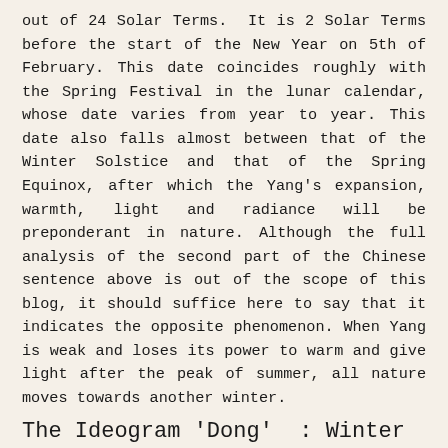out of 24 Solar Terms. It is 2 Solar Terms before the start of the New Year on 5th of February. This date coincides roughly with the Spring Festival in the lunar calendar, whose date varies from year to year. This date also falls almost between that of the Winter Solstice and that of the Spring Equinox, after which the Yang's expansion, warmth, light and radiance will be preponderant in nature. Although the full analysis of the second part of the Chinese sentence above is out of the scope of this blog, it should suffice here to say that it indicates the opposite phenomenon. When Yang is weak and loses its power to warm and give light after the peak of summer, all nature moves towards another winter.
The Ideogram 'Dong'  : Winter
Etymologically, the ideogram dong  derives from the old character (1) shown below, indicating the hidden sun